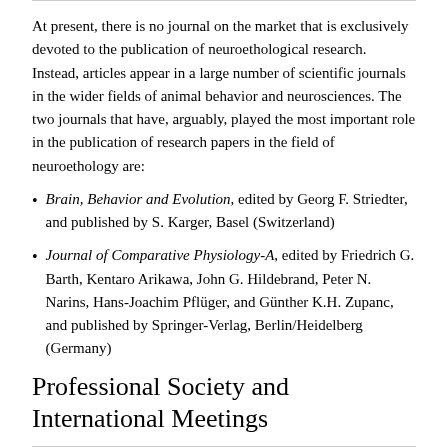At present, there is no journal on the market that is exclusively devoted to the publication of neuroethological research. Instead, articles appear in a large number of scientific journals in the wider fields of animal behavior and neurosciences. The two journals that have, arguably, played the most important role in the publication of research papers in the field of neuroethology are:
Brain, Behavior and Evolution, edited by Georg F. Striedter, and published by S. Karger, Basel (Switzerland)
Journal of Comparative Physiology-A, edited by Friedrich G. Barth, Kentaro Arikawa, John G. Hildebrand, Peter N. Narins, Hans-Joachim Pflüger, and Günther K.H. Zupanc, and published by Springer-Verlag, Berlin/Heidelberg (Germany)
Professional Society and International Meetings
The professional society devoted to the promotion of neuroethology is the International Society for Neuroethology (ISN). It was founded during a NATO-sponsored Advanced Study Institutes meeting (organized by Jörg-Peter Ewert, Robert R. Capranica, and David J.